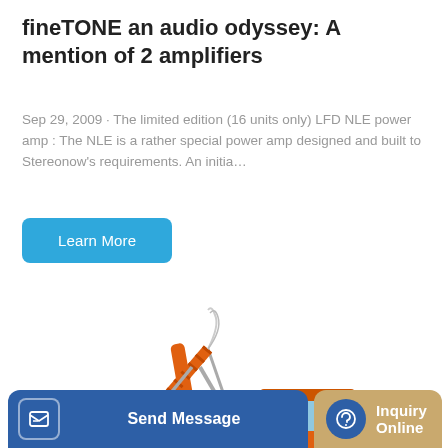fineTONE an audio odyssey: A mention of 2 amplifiers
Sep 29, 2009 · The limited edition (16 units only) LFD NLE power amp : The NLE is a rather special power amp designed and built to Stereonow's requirements. An initia…
Learn More
[Figure (photo): Orange excavator/crawler hydraulic excavator on white background, showing the boom arm, bucket, cab, and undercarriage tracks.]
Send Message
Inquiry Online